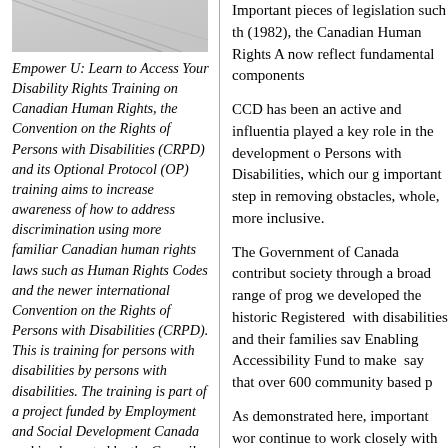[Figure (photo): Partial image visible at top of left column, appears to show a person or graphic, cropped.]
Empower U: Learn to Access Your Disability Rights Training on Canadian Human Rights, the Convention on the Rights of Persons with Disabilities (CRPD) and its Optional Protocol (OP) training aims to increase awareness of how to address discrimination using more familiar Canadian human rights laws such as Human Rights Codes and the newer international Convention on the Rights of Persons with Disabilities (CRPD). This is training for persons with disabilities by persons with disabilities. The training is part of a project funded by Employment and Social Development Canada and implemented by the Council of
Important pieces of legislation such th (1982), the Canadian Human Rights A now reflect fundamental components
CCD has been an active and influentia played a key role in the development o Persons with Disabilities, which our g important step in removing obstacles, whole, more inclusive.
The Government of Canada contribut society through a broad range of prog we developed the historic Registered  with disabilities and their families sav Enabling Accessibility Fund to make  say that over 600 community based p
As demonstrated here, important wor continue to work closely with the Pro employment needs of people with disa Persons with Disabilities. Through pr disabilities have the opportunity to ho